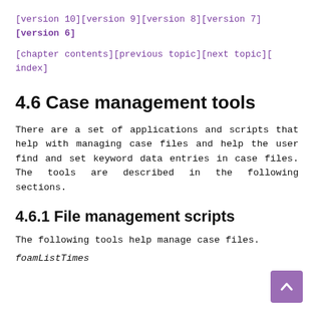[version 10][version 9][version 8][version 7][version 6]
[chapter contents][previous topic][next topic][index]
4.6 Case management tools
There are a set of applications and scripts that help with managing case files and help the user find and set keyword data entries in case files. The tools are described in the following sections.
4.6.1 File management scripts
The following tools help manage case files.
foamListTimes